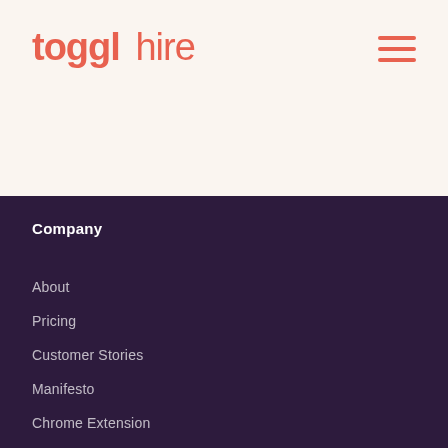[Figure (logo): Toggl Hire logo with bold coral/salmon colored text reading 'toggl hire']
[Figure (other): Hamburger menu icon with three horizontal coral colored lines]
Company
About
Pricing
Customer Stories
Manifesto
Chrome Extension